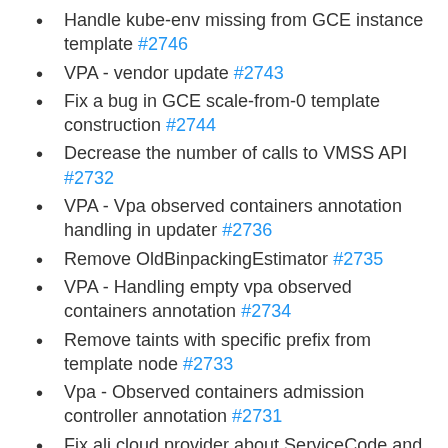Handle kube-env missing from GCE instance template #2746
VPA - vendor update #2743
Fix a bug in GCE scale-from-0 template construction #2744
Decrease the number of calls to VMSS API #2732
VPA - Vpa observed containers annotation handling in updater #2736
Remove OldBinpackingEstimator #2735
VPA - Handling empty vpa observed containers annotation #2734
Remove taints with specific prefix from template node #2733
Vpa - Observed containers admission controller annotation #2731
Fix ali cloud provider about ServiceCode and keySecret #2729
Adding vpa blessing annotation #2727
Use correct key/value separator in kubect! DDB...